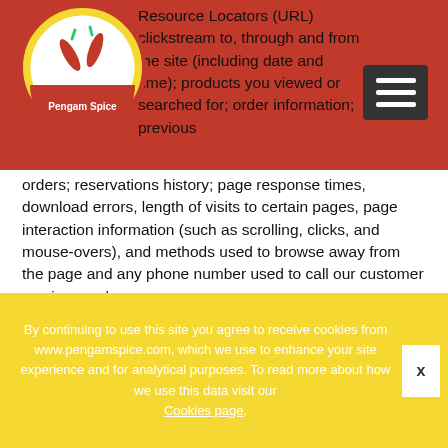[Figure (logo): Pengam Spice logo — circular badge with red chili peppers and text 'Pengam Spice' on a yellow/white background]
Resource Locators (URL) clickstream to, through and from the site (including date and time); products you viewed or searched for; order information; previous orders; reservations history; page response times, download errors, length of visits to certain pages, page interaction information (such as scrolling, clicks, and mouse-overs), and methods used to browse away from the page and any phone number used to call our customer service number.

Information we receive from other sources. We may receive information about you if you use any of the other websites we operate or the other services we provide. We are also working closely with third parties (including,
By continuing to use this site you agree to receive cookies from www.pengamspice.com, which we use to enhance your site experience and for analytical purposes. To read more about how we use this data visit our Cookies page.